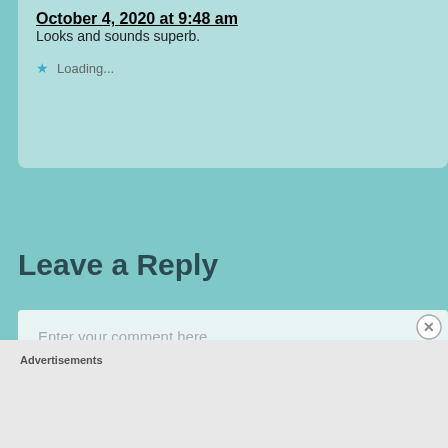October 4, 2020 at 9:48 am
Looks and sounds superb.
Loading...
Leave a Reply
Enter your comment here...
Advertisements